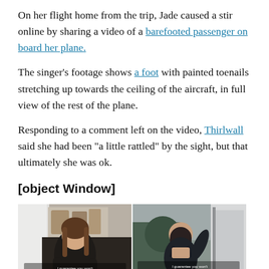On her flight home from the trip, Jade caused a stir online by sharing a video of a barefooted passenger on board her plane.
The singer's footage shows a foot with painted toenails stretching up towards the ceiling of the aircraft, in full view of the rest of the plane.
Responding to a comment left on the video, Thirlwall said she had been “a little rattled” by the sight, but that ultimately she was ok.
[object Window]
[Figure (photo): Two side-by-side video stills of a woman near a van. Left: woman facing camera with subtitle text about looking back on life. Right: woman from behind with similar subtitle text.]